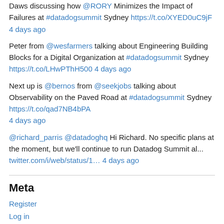Daws discussing how @RORY Minimizes the Impact of Failures at #datadogsummit Sydney https://t.co/XYED0uC9jF 4 days ago
Peter from @wesfarmers talking about Engineering Building Blocks for a Digital Organization at #datadogsummit Sydney https://t.co/LHwPThH500 4 days ago
Next up is @bernos from @seekjobs talking about Observability on the Paved Road at #datadogsummit Sydney https://t.co/qad7NB4bPA 4 days ago
@richard_parris @datadoghq Hi Richard. No specific plans at the moment, but we'll continue to run Datadog Summit al... twitter.com/i/web/status/1… 4 days ago
Meta
Register
Log in
Entries feed